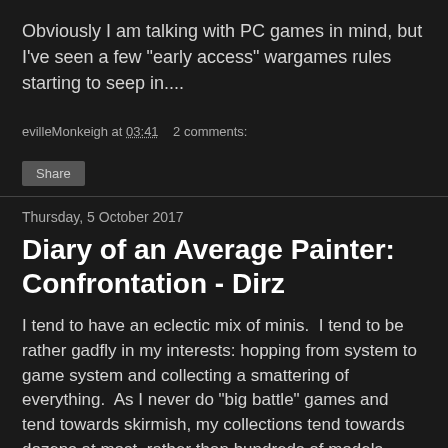Obviously I am talking with PC games in mind, but I've seen a few "early access" wargames rules starting to seep in....
evilleMonkeigh at 03:41    2 comments:
Share
Thursday, 5 October 2017
Diary of an Average Painter: Confrontation - Dirz
I tend to have an eclectic mix of minis.  I tend to be rather gadfly in my interests: hopping from system to game system and collecting a smattering of everything.  As I never do "big battle" games and tend towards skirmish, my collections tend towards dozens at most, rather than hundreds of models.
But I do have an improbable amount of minis for three game